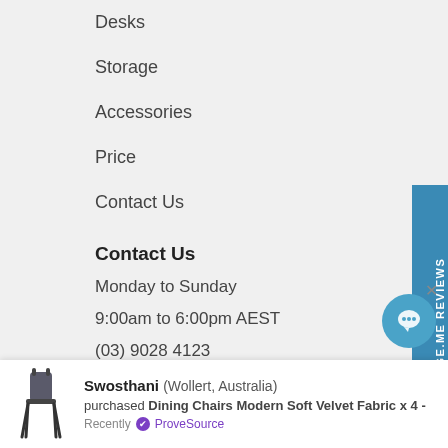Desks
Storage
Accessories
Price
Contact Us
Contact Us
Monday to Sunday
9:00am to 6:00pm AEST
(03) 9028 4123
support@homeofficedecor.com.au
[Figure (other): Vertical blue side tab with star icon and text 'JUDGE.ME REVIEWS']
Swosthani (Wollert, Australia) purchased Dining Chairs Modern Soft Velvet Fabric x 4 - Recently ProveSource